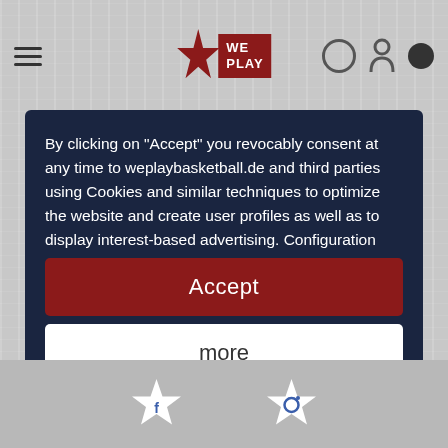[Figure (screenshot): Website navigation header with hamburger menu, WePlay basketball logo (star + red box), and user/search icons on gray wood-grain background]
By clicking on "Accept" you revocably consent at any time to weplaybasketball.de and third parties using Cookies and similar techniques to optimize the website and create user profiles as well as to display interest-based advertising. Configuration options and further information are available via "More". Rejection is possible here . The refusal does not activate the techniques used, with the exception of those that are essential for the operation of the site. Further information on the person responsible can be...
Accept
more
Powered by  usercentrics & Trusted Shops